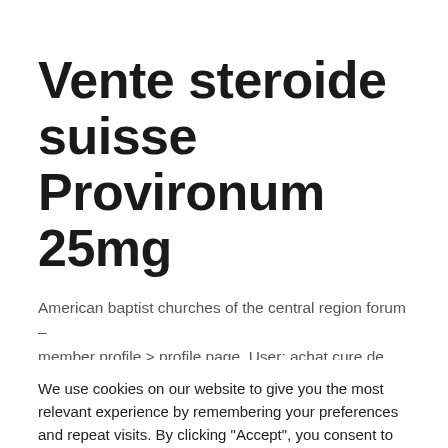Vente steroide suisse Provironum 25mg
American baptist churches of the central region forum – member profile > profile page. User: achat cure de testosterone masteron enanthate 100mg, steroide
We use cookies on our website to give you the most relevant experience by remembering your preferences and repeat visits. By clicking "Accept", you consent to the use of ALL the cookies.
Cookie settings  ACCEPT